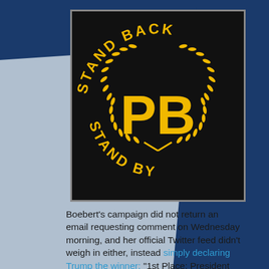[Figure (logo): Proud Boys logo: black background with gold text 'STAND BACK' arched on top and 'STAND BY' arched on bottom, with large gold 'PB' letters in the center surrounded by a gold laurel wreath.]
Boebert's campaign did not return an email requesting comment on Wednesday morning, and her official Twitter feed didn't weigh in either, instead simply declaring Trump the winner: "1st Place: President